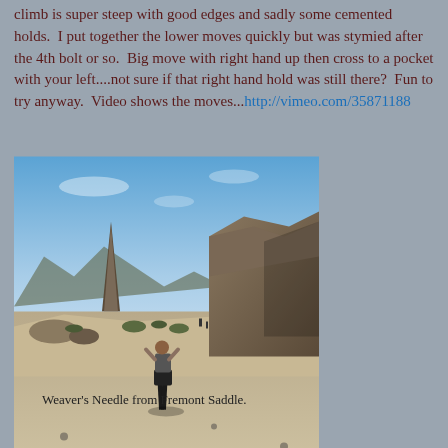climb is super steep with good edges and sadly some cemented holds.  I put together the lower moves quickly but was stymied after the 4th bolt or so.  Big move with right hand up then cross to a pocket with your left....not sure if that right hand hold was still there?  Fun to try anyway.  Video shows the moves...http://vimeo.com/35871188
[Figure (photo): Outdoor desert landscape photo showing a person standing on rocky terrain looking toward a distinctive sharp spire (Weaver's Needle) in the distance, with large boulders on the right and desert scrub vegetation, blue sky with light clouds.]
Weaver's Needle from Fremont Saddle.